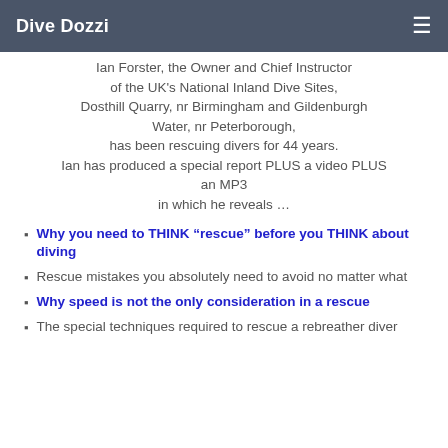Dive Dozzi
Ian Forster, the Owner and Chief Instructor of the UK's National Inland Dive Sites, Dosthill Quarry, nr Birmingham and Gildenburgh Water, nr Peterborough, has been rescuing divers for 44 years. Ian has produced a special report PLUS a video PLUS an MP3 in which he reveals ...
Why you need to THINK “resue” before you THINK about diving
Rescue mistakes you absolutely need to avoid no matter what
Why speed is not the only consideration in a rescue
The special techniques required to rescue a rebreather diver